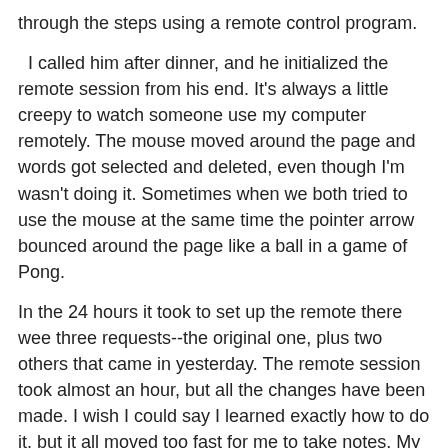through the steps using a remote control program.
I called him after dinner, and he initialized the remote session from his end.  It's always a little creepy to watch someone use my computer remotely. The mouse moved around the page and words got selected and deleted, even though I'm wasn't doing it. Sometimes when we both tried to use the mouse at the same time the pointer arrow bounced around the page like a ball in a game of Pong.
In the 24 hours it took to set up the remote there wee three requests--the original one, plus two others that came in yesterday.  The remote session took almost an hour, but all the changes have been made.  I wish I could say I learned exactly how to do it, but it all moved too fast for me to take notes.  My web page partner told me that the requests come in a varying rates. Sometimes there will be several in a week and sometimes just a couple.
I'm hoping for the latter.
Five years ago today: Starring Me!